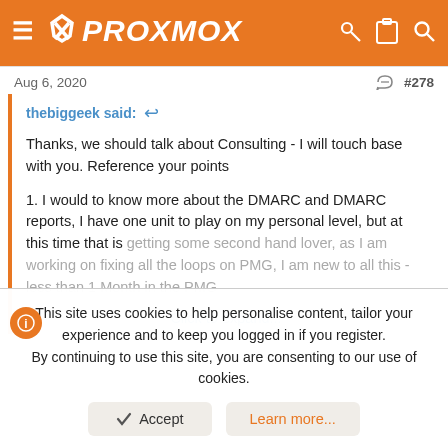PROXMOX
Aug 6, 2020  #278
thebiggeek said: ↩
Thanks, we should talk about Consulting - I will touch base with you. Reference your points
1. I would to know more about the DMARC and DMARC reports, I have one unit to play on my personal level, but at this time that is getting some second hand lover, as I am working on fixing all the loops on PMG, I am new to all this - less than 1 Month in the PMG
Click to expand...
This site uses cookies to help personalise content, tailor your experience and to keep you logged in if you register. By continuing to use this site, you are consenting to our use of cookies.